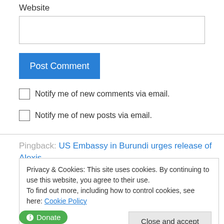Website
Post Comment
Notify me of new comments via email.
Notify me of new posts via email.
Pingback: US Embassy in Burundi urges release of Alexis
Privacy & Cookies: This site uses cookies. By continuing to use this website, you agree to their use. To find out more, including how to control cookies, see here: Cookie Policy
Close and accept
Donate